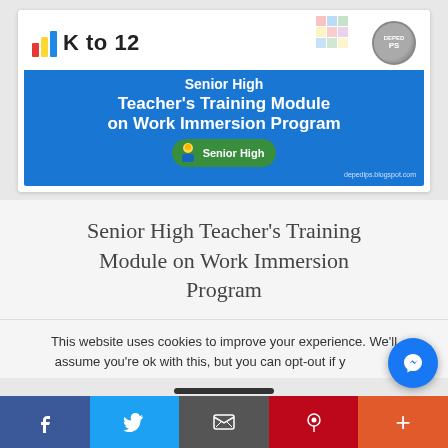[Figure (screenshot): K to 12 Senior High Teacher's Training Module on Work Immersion Program banner image with blue background, DepEd logo, bar chart icon, K to 12 text, Senior High pill badge, and blogspot URL.]
Senior High Teacher's Training Module on Work Immersion Program
This website uses cookies to improve your experience. We'll assume you're ok with this, but you can opt-out if y...